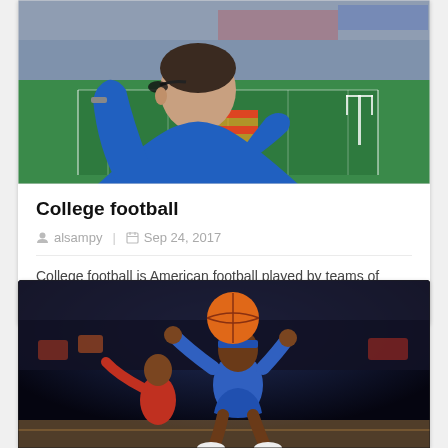[Figure (photo): A fan at a soccer stadium viewed from behind, with arm raised, overlooking a large green football pitch filled with crowd in the stands]
College football
alsampy  |  Sep 24, 2017
College football is American football played by teams of student athletes fielded by American universities,...
[Figure (photo): A basketball player in a blue uniform jumping and shooting a basketball, with dark arena crowd in background]